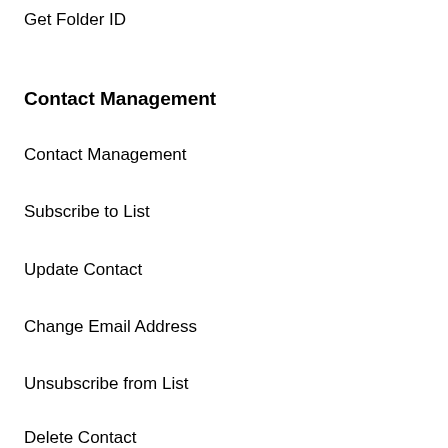Get Folder ID
Contact Management
Contact Management
Subscribe to List
Update Contact
Change Email Address
Unsubscribe from List
Delete Contact